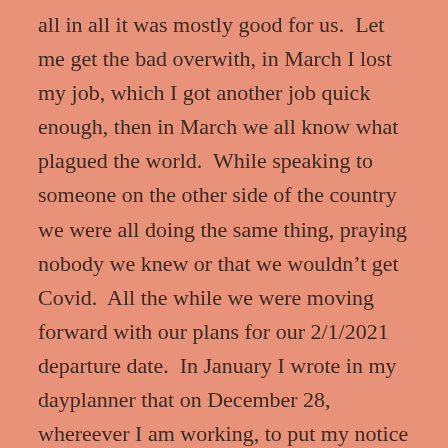all in all it was mostly good for us.  Let me get the bad overwith, in March I lost my job, which I got another job quick enough, then in March we all know what plagued the world.  While speaking to someone on the other side of the country we were all doing the same thing, praying nobody we knew or that we wouldn't get Covid.  All the while we were moving forward with our plans for our 2/1/2021 departure date.  In January I wrote in my dayplanner that on December 28, whereever I am working, to put my notice in (I actually wrote it that way).  The rest of the bad is that my father in law, a sweet, sweet man, became sicker and was in a hospital bed (at home-thank you Hospice) since July and passed away at age 98.5. He is missed but we all know he is in a better place.  My uncles got Covid but